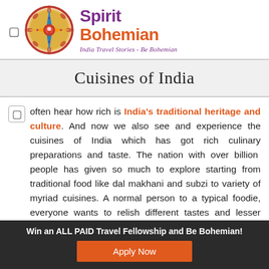[Figure (logo): Spirit Bohemian logo — circular mandala/compass design with 'Spirit Bohemian' text and tagline 'India Travel Stories - Be Bohemian']
Cuisines of India
often hear how rich is India's traditional heritage and culture. And now we also see and experience the cuisines of India which has got rich culinary preparations and taste. The nation with over billion people has given so much to explore starting from traditional food like dal makhani and subzi to variety of myriad cuisines. A normal person to a typical foodie, everyone wants to relish different tastes and lesser known cuisines of India.
Win an ALL PAID Travel Fellowship and Be Bohemian!
Apply Now